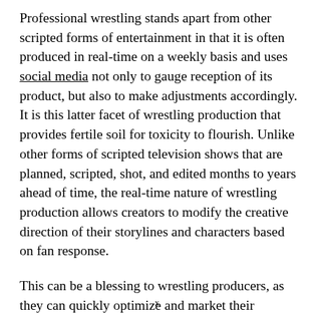Professional wrestling stands apart from other scripted forms of entertainment in that it is often produced in real-time on a weekly basis and uses social media not only to gauge reception of its product, but also to make adjustments accordingly. It is this latter facet of wrestling production that provides fertile soil for toxicity to flourish. Unlike other forms of scripted television shows that are planned, scripted, shot, and edited months to years ahead of time, the real-time nature of wrestling production allows creators to modify the creative direction of their storylines and characters based on fan response.
This can be a blessing to wrestling producers, as they can quickly optimize and market their product depending on fan response. However, it can be a curse as it places an urgency on the fanbase to be vocal on social media as
x